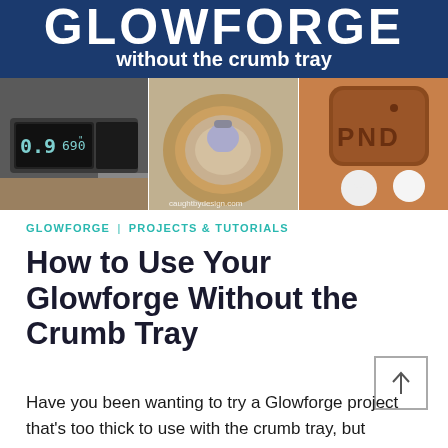[Figure (photo): Banner image showing Glowforge without the crumb tray — header with dark blue background and bold white text 'GLOWFORGE without the crumb tray', below three photos: calipers measuring material thickness, a laser-cut coaster with object on it, and leather AirPods case engraved with 'PND']
GLOWFORGE | PROJECTS & TUTORIALS
How to Use Your Glowforge Without the Crumb Tray
Have you been wanting to try a Glowforge project that's too thick to use with the crumb tray, but